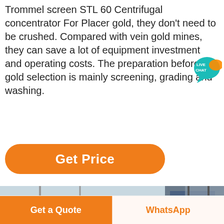Trommel screen STL 60 Centrifugal concentrator For Placer gold, they don't need to be crushed. Compared with vein gold mines, they can save a lot of equipment investment and operating costs. The preparation before gold selection is mainly screening, grading and washing.
[Figure (other): Live Chat speech bubble badge icon with teal/cyan background and white text reading LIVE CHAT]
[Figure (other): Get Price orange rounded button]
[Figure (photo): Industrial facility interior photo showing CCM logo overlaid (large black letters C C M with a red star), industrial conveyors and steel structure in background with red pipes and blue panels]
Get a Quote
WhatsApp